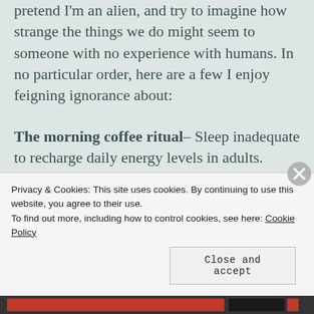pretend I'm an alien, and try to imagine how strange the things we do might seem to someone with no experience with humans. In no particular order, here are a few I enjoy feigning ignorance about:
The morning coffee ritual– Sleep inadequate to recharge daily energy levels in adults. Supplement required for productivity.
Children playing pretend– Instantaneous construction of
Privacy & Cookies: This site uses cookies. By continuing to use this website, you agree to their use.
To find out more, including how to control cookies, see here: Cookie Policy
Close and accept